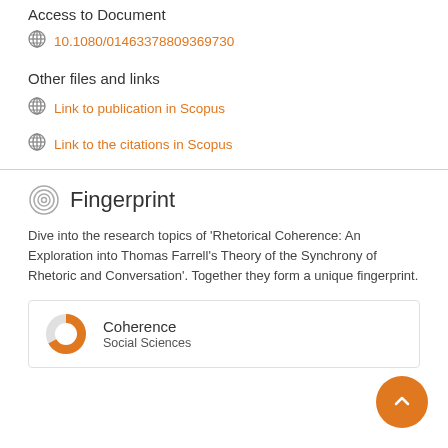Access to Document
10.1080/01463378809369730
Other files and links
Link to publication in Scopus
Link to the citations in Scopus
Fingerprint
Dive into the research topics of 'Rhetorical Coherence: An Exploration into Thomas Farrell's Theory of the Synchrony of Rhetoric and Conversation'. Together they form a unique fingerprint.
Coherence
Social Sciences